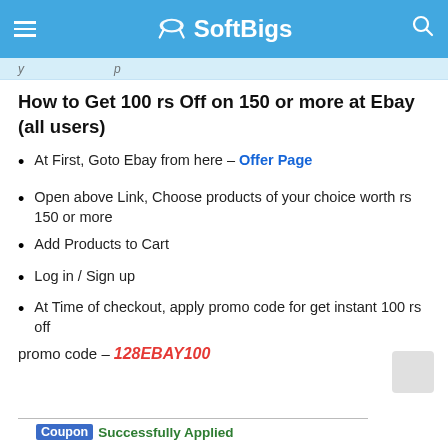☰ SoftBigs 🔍
How to Get 100 rs Off on 150 or more at Ebay (all users)
At First, Goto Ebay from here – Offer Page
Open above Link, Choose products of your choice worth rs 150 or more
Add Products to Cart
Log in / Sign up
At Time of checkout, apply promo code for get instant 100 rs off
promo code – 128EBAY100
Coupon Successfully Applied